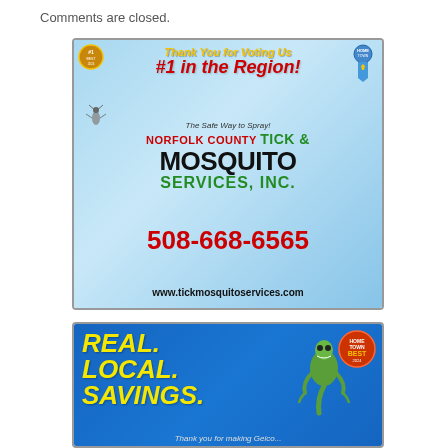Comments are closed.
[Figure (illustration): Advertisement for Norfolk County Tick & Mosquito Services, Inc. with blue sky background, cartoon frog mascot, mosquito illustration, daisy flower. Text: Thank You for Voting Us #1 in the Region! The Safe Way to Spray! Norfolk County Tick & Mosquito Services, Inc. Phone: 508-668-6565, www.tickmosquitoservices.com]
[Figure (illustration): Advertisement with blue background featuring a green gecko/lizard mascot and Hometown Best award badges. Text: REAL. LOCAL. SAVINGS. with partial text at bottom reading 'Thank you for making Geico...']